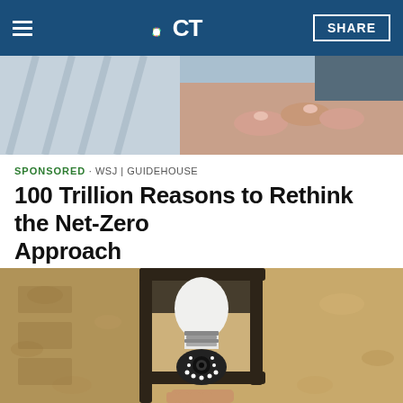NBC CT — SHARE
[Figure (photo): Cropped photo of two people holding hands, appears to be an elderly person's hands being held]
SPONSORED · WSJ | GUIDEHOUSE
100 Trillion Reasons to Rethink the Net-Zero Approach
[Figure (photo): Close-up photo of a smart light bulb camera installed in a black lantern-style outdoor wall fixture mounted on a textured stucco wall. A hand is visible at the bottom holding the device.]